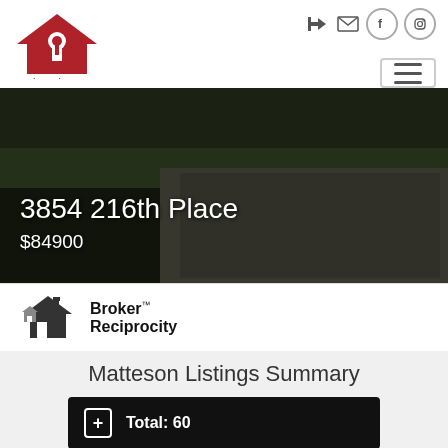[Figure (logo): Real People Realty logo with house/key icon in red]
[Figure (screenshot): Navigation icons: sign-in, mail, Facebook, Instagram, and hamburger menu button]
[Figure (photo): Exterior photo of property with dark grass/sidewalk background]
3854 216th Place
$84900
[Figure (logo): Broker Reciprocity logo with house icon]
Matteson Listings Summary
Total: 60
New: 8